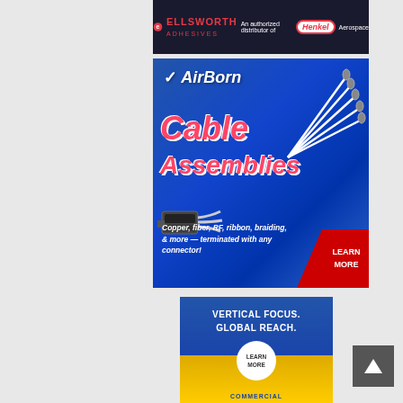[Figure (advertisement): Ellsworth Adhesives — An authorized distributor of Henkel Aerospace]
[Figure (advertisement): AirBorn Cable Assemblies advertisement. Copper, fiber, RF, ribbon, braiding, & more — terminated with any connector! Learn More.]
[Figure (advertisement): Vertical Focus. Global Reach. Learn More. Commercial [text cut off]]